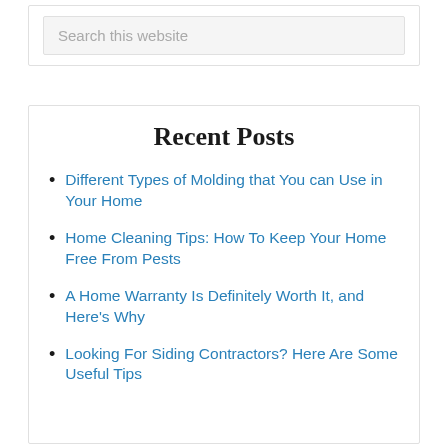Search this website
Recent Posts
Different Types of Molding that You can Use in Your Home
Home Cleaning Tips: How To Keep Your Home Free From Pests
A Home Warranty Is Definitely Worth It, and Here's Why
Looking For Siding Contractors? Here Are Some Useful Tips